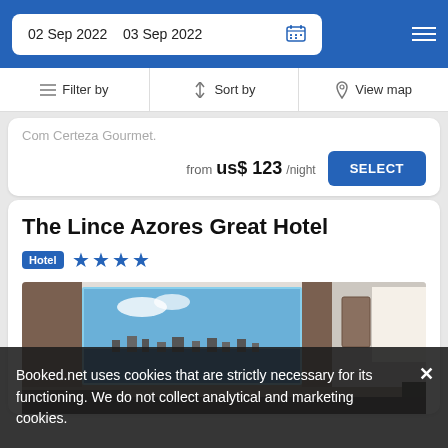02 Sep 2022   03 Sep 2022
Filter by   Sort by   View map
Com Certeza Gourmet.
from  us$ 123/night
The Lince Azores Great Hotel
Hotel ★★★★
[Figure (photo): Hotel room interior with large window showing ocean and town view, curtains, furniture visible]
Booked.net uses cookies that are strictly necessary for its functioning. We do not collect analytical and marketing cookies.